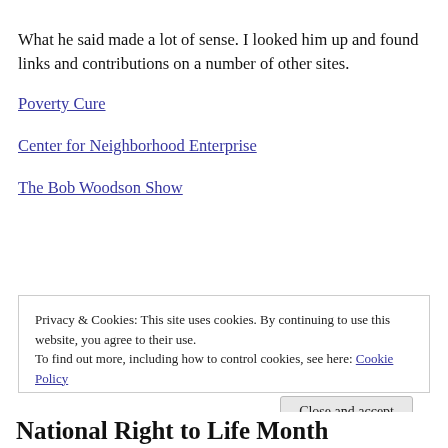What he said made a lot of sense. I looked him up and found links and contributions on a number of other sites.
Poverty Cure
Center for Neighborhood Enterprise
The Bob Woodson Show
Privacy & Cookies: This site uses cookies. By continuing to use this website, you agree to their use. To find out more, including how to control cookies, see here: Cookie Policy
Close and accept
National Right to Life Month